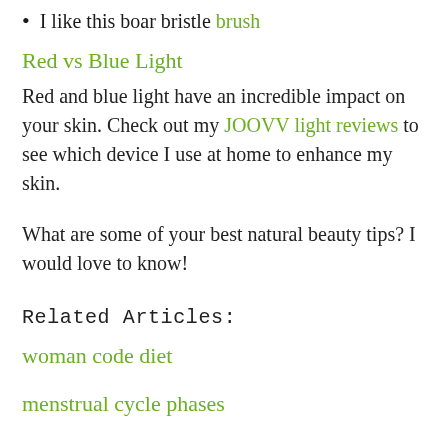I like this boar bristle brush
Red vs Blue Light
Red and blue light have an incredible impact on your skin. Check out my JOOVV light reviews to see which device I use at home to enhance my skin.
What are some of your best natural beauty tips? I would love to know!
Related Articles:
woman code diet
menstrual cycle phases